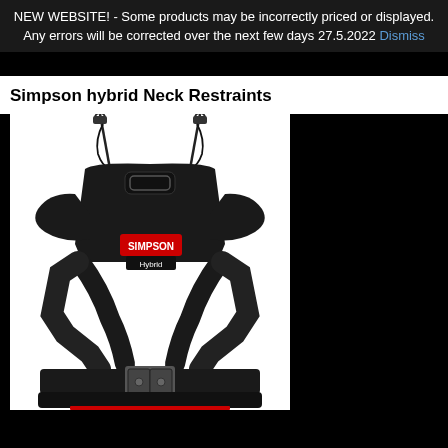NEW WEBSITE! - Some products may be incorrectly priced or displayed. Any errors will be corrected over the next few days 27.5.2022 Dismiss
navigation breadcrumb row
Simpson hybrid Neck Restraints
[Figure (photo): Simpson Hybrid Sport neck restraint device in black, shown from the front. Features cross-strap harness system, shoulder/chest pads, tethers at top, and a buckle at the bottom. Simpson Hybrid Sport logo visible on center chest piece.]